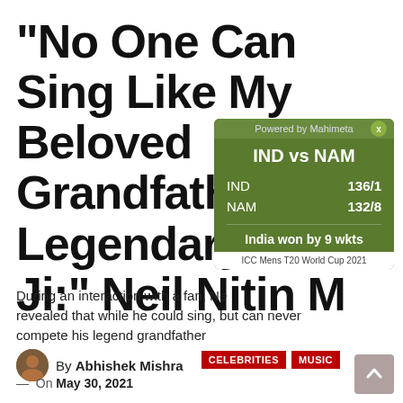“No One Can Sing Like My Beloved Grandfather, Legendary Mu… Ji:” Neil Nitin M…
[Figure (infographic): Cricket score widget overlay: IND vs NAM, IND 136/1, NAM 132/8, India won by 9 wkts, ICC Mens T20 World Cup 2021. Powered by Mahimeta.]
During an interaction with a fan, Ne… revealed that while he could sing, but can never compete his legend grandfather
By Abhishek Mishra
—  On May 30, 2021
CELEBRITIES   MUSIC